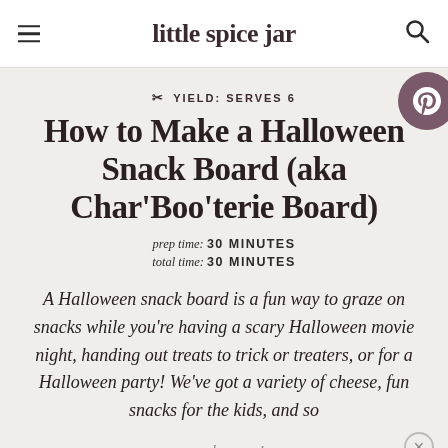little spice jar
YIELD: SERVES 6
How to Make a Halloween Snack Board (aka Char'Boo'terie Board)
prep time: 30 MINUTES
total time: 30 MINUTES
A Halloween snack board is a fun way to graze on snacks while you're having a scary Halloween movie night, handing out treats to trick or treaters, or for a Halloween party! We've got a variety of cheese, fun snacks for the kids, and so much more!